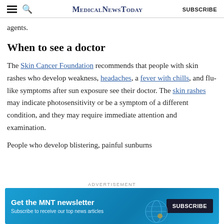MedicalNewsToday | SUBSCRIBE
agents.
When to see a doctor
The Skin Cancer Foundation recommends that people with skin rashes who develop weakness, headaches, a fever with chills, and flu-like symptoms after sun exposure see their doctor. The skin rashes may indicate photosensitivity or be a symptom of a different condition, and they may require immediate attention and examination.
People who develop blistering, painful sunburns
ADVERTISEMENT
[Figure (infographic): MNT newsletter advertisement banner: 'Get the MNT newsletter - Subscribe to receive our top news articles' with a SUBSCRIBE button and globe graphic on teal/blue background]